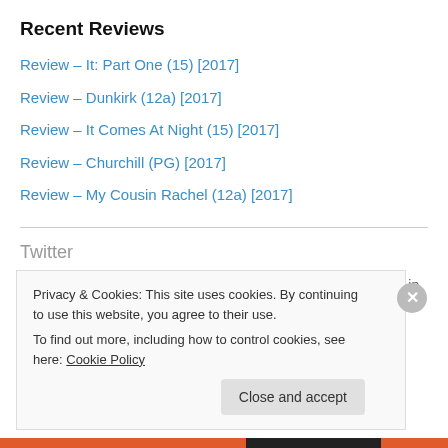Recent Reviews
Review – It: Part One (15) [2017]
Review – Dunkirk (12a) [2017]
Review – It Comes At Night (15) [2017]
Review – Churchill (PG) [2017]
Review – My Cousin Rachel (12a) [2017]
Twitter
One gets a true experience of what it was like to be at Dunkirk in
#Dunkirk, pgtipsonfilms.com/2017/09/03/rev… 4 years ago
Privacy & Cookies: This site uses cookies. By continuing to use this website, you agree to their use.
To find out more, including how to control cookies, see here: Cookie Policy